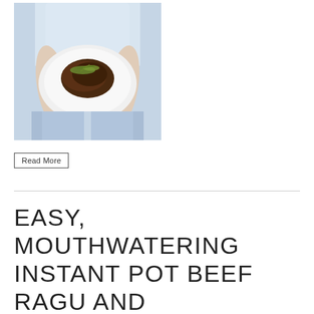[Figure (photo): Person in light blue clothing holding a white plate with a dark braised meat dish topped with green garnish]
Read More
EASY, MOUTHWATERING INSTANT POT BEEF RAGU AND PAPPARDELLE